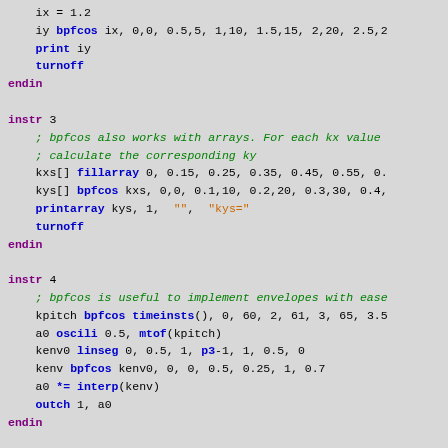Code block showing Csound instrument definitions using bpfcos opcode
instr 3 block with fillarray, bpfcos, printarray usage
instr 4 block with bpfcos for envelopes, oscili, linseg, interp, outch
instr 5 block beginning with comments about arrays